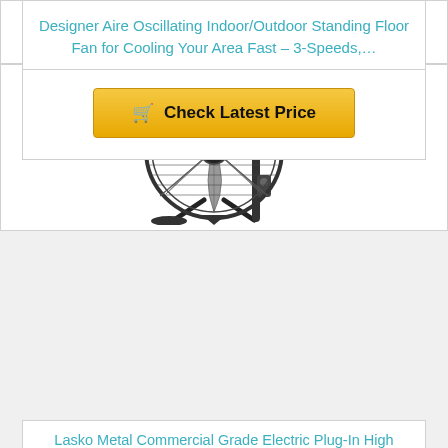Designer Aire Oscillating Indoor/Outdoor Standing Floor Fan for Cooling Your Area Fast – 3-Speeds,…
Check Latest Price
No. 8
[Figure (photo): Lasko metal floor fan with circular blade guard, black stand, and remote control]
Lasko Metal Commercial Grade Electric Plug-In High Velocity Floor Fan with Wall Mount Option and…